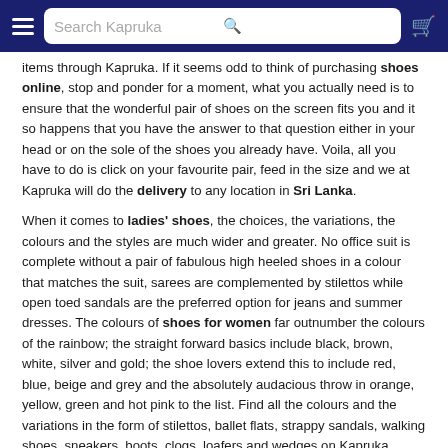Search Kapruka
items through Kapruka. If it seems odd to think of purchasing shoes online, stop and ponder for a moment, what you actually need is to ensure that the wonderful pair of shoes on the screen fits you and it so happens that you have the answer to that question either in your head or on the sole of the shoes you already have. Voila, all you have to do is click on your favourite pair, feed in the size and we at Kapruka will do the delivery to any location in Sri Lanka.
When it comes to ladies' shoes, the choices, the variations, the colours and the styles are much wider and greater. No office suit is complete without a pair of fabulous high heeled shoes in a colour that matches the suit, sarees are complemented by stilettos while open toed sandals are the preferred option for jeans and summer dresses. The colours of shoes for women far outnumber the colours of the rainbow; the straight forward basics include black, brown, white, silver and gold; the shoe lovers extend this to include red, blue, beige and grey and the absolutely audacious throw in orange, yellow, green and hot pink to the list. Find all the colours and the variations in the form of stilettos, ballet flats, strappy sandals, walking shoes, sneakers, boots, clogs, loafers and wedges on Kapruka.
Spoil your friends, family and even yourself with one of these elegant gifts that make every step more fashionable and rewarding. Shoes are an integral part of one's attire and cannot be hidden or tucked away.